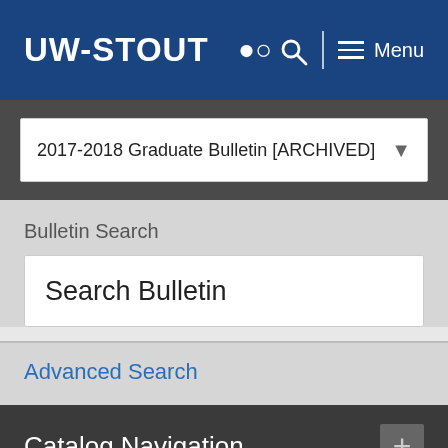UW-STOUT
2017-2018 Graduate Bulletin [ARCHIVED]
Bulletin Search
Search Bulletin
Advanced Search
Catalog Navigation